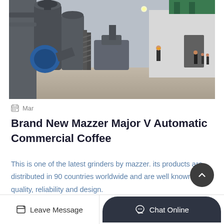[Figure (photo): Industrial facility with large grey machinery, pipes, cyclone separators, metal staircases, and workers visible on a concrete yard inside a steel-frame warehouse building.]
Mar
Brand New Mazzer Major V Automatic Commercial Coffee
This is one of the latest grinders by mazzer. its products are distributed in 90 countries worldwide and are well known for quality, reliability and design.